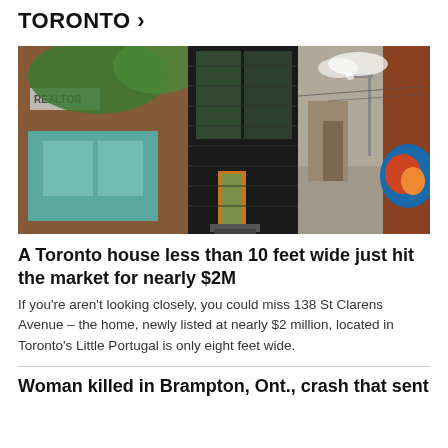TORONTO →
[Figure (photo): Photo of a very narrow modern house (less than 10 feet wide) squeezed between two brick buildings, with a contemporary black metal facade and glass panels, and an alleyway view on the right showing graffiti art on a brick wall]
A Toronto house less than 10 feet wide just hit the market for nearly $2M
If you're aren't looking closely, you could miss 138 St Clarens Avenue – the home, newly listed at nearly $2 million, located in Toronto's Little Portugal is only eight feet wide.
Woman killed in Brampton, Ont., crash that sent